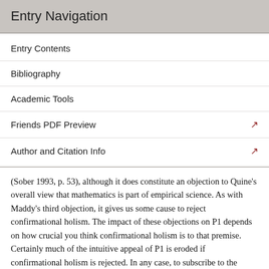Entry Navigation
Entry Contents
Bibliography
Academic Tools
Friends PDF Preview
Author and Citation Info
(Sober 1993, p. 53), although it does constitute an objection to Quine's overall view that mathematics is part of empirical science. As with Maddy's third objection, it gives us some cause to reject confirmational holism. The impact of these objections on P1 depends on how crucial you think confirmational holism is to that premise. Certainly much of the intuitive appeal of P1 is eroded if confirmational holism is rejected. In any case, to subscribe to the conclusion of the indispensability argument in the face of Sober's or Maddy's objections is to hold the position that it's permissible at least to have